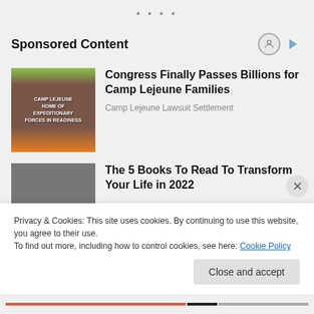* * * *
Sponsored Content
[Figure (photo): Camp Lejeune brick entrance sign reading CAMP LEJEUNE HOME OF EXPEDITIONARY FORCES IN READINESS with pine trees and people]
Congress Finally Passes Billions for Camp Lejeune Families
Camp Lejeune Lawsuit Settlement
[Figure (photo): Black and white close-up photo of a person with long hair covering part of their face]
The 5 Books To Read To Transform Your Life in 2022
Privacy & Cookies: This site uses cookies. By continuing to use this website, you agree to their use.
To find out more, including how to control cookies, see here: Cookie Policy
Close and accept